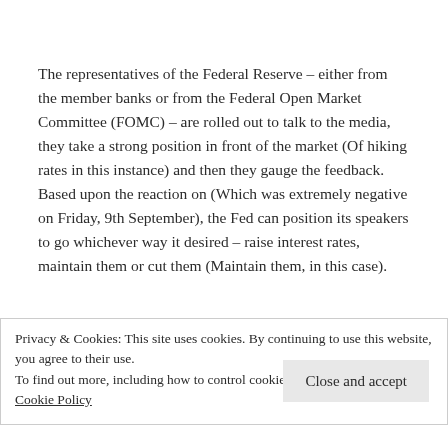The representatives of the Federal Reserve – either from the member banks or from the Federal Open Market Committee (FOMC) – are rolled out to talk to the media, they take a strong position in front of the market (Of hiking rates in this instance) and then they gauge the feedback. Based upon the reaction on (Which was extremely negative on Friday, 9th September), the Fed can position its speakers to go whichever way it desired – raise interest rates, maintain them or cut them (Maintain them, in this case).
Privacy & Cookies: This site uses cookies. By continuing to use this website, you agree to their use.
To find out more, including how to control cookies, see here: Cookie Policy
Close and accept